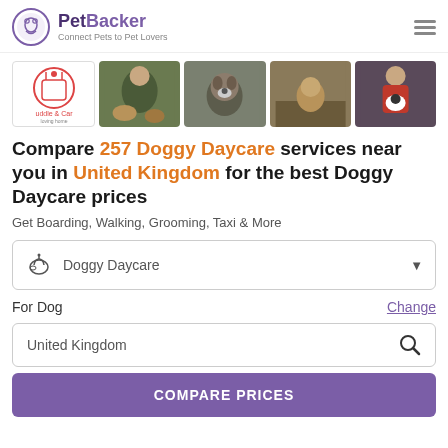PetBacker — Connect Pets to Pet Lovers
[Figure (photo): Five thumbnail images: Cuddle & Care logo, person with dogs, dog portrait, dog outdoors, person holding dog]
Compare 257 Doggy Daycare services near you in United Kingdom for the best Doggy Daycare prices
Get Boarding, Walking, Grooming, Taxi & More
Doggy Daycare (dropdown selector)
For Dog    Change
United Kingdom (search box)
COMPARE PRICES